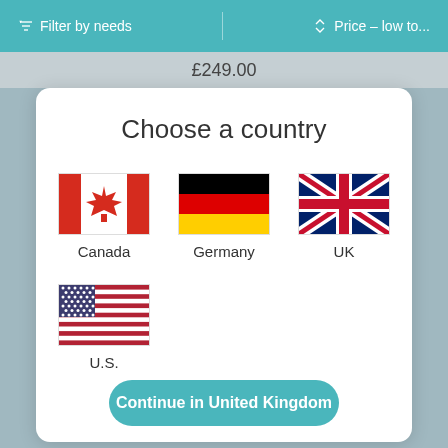Filter by needs | Price - low to...
£249.00
Choose a country
[Figure (illustration): Canada flag]
Canada
[Figure (illustration): Germany flag]
Germany
[Figure (illustration): UK flag]
UK
[Figure (illustration): U.S. flag]
U.S.
Continue in United Kingdom